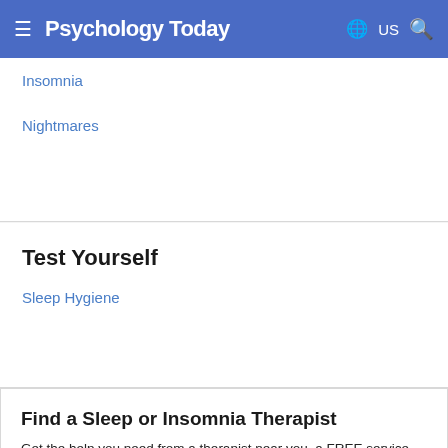Psychology Today — ≡ 🌐 US 🔍
Insomnia
Nightmares
Test Yourself
Sleep Hygiene
Find a Sleep or Insomnia Therapist
Get the help you need from a therapist near you–a FREE service from Psychology Today.
City or Zip